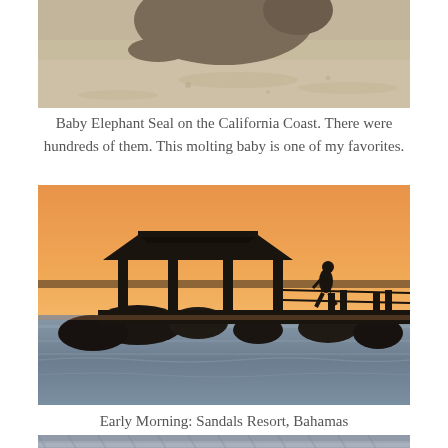[Figure (photo): Baby elephant seal on sandy California coast beach, partial view cropped at top]
Baby Elephant Seal on the California Coast.  There were hundreds of them.  This molting baby is one of my favorites.
[Figure (photo): Silhouette of a gazebo/pavilion on a dock over water at golden sunrise/sunset, with a person walking along the pier, at Sandals Resort, Bahamas]
Early Morning: Sandals Resort, Bahamas
[Figure (photo): Close-up partial view of a woven or textured object, cropped at bottom of page]